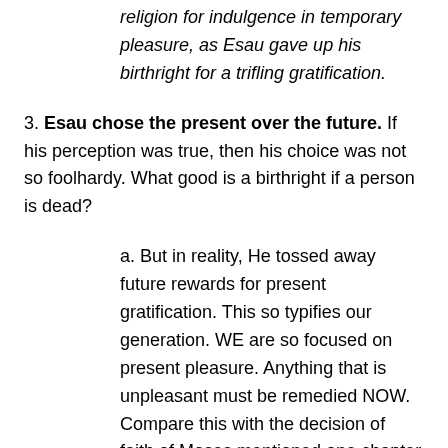religion for indulgence in temporary pleasure, as Esau gave up his birthright for a trifling gratification.
3. Esau chose the present over the future. If his perception was true, then his choice was not so foolhardy. What good is a birthright if a person is dead?
a. But in reality, He tossed away future rewards for present gratification. This so typifies our generation. WE are so focused on present pleasure. Anything that is unpleasant must be remedied NOW. Compare this with the decision of faith of Moses mentioned one chapter earlier on